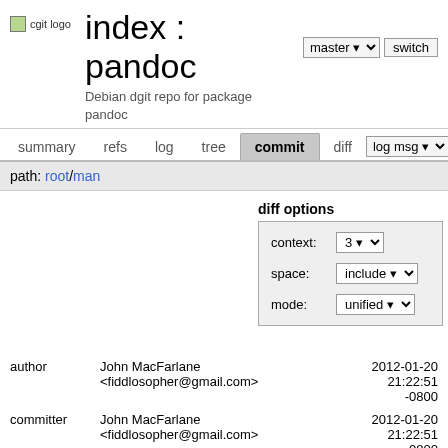cgit logo  index : pandoc  master  switch  Debian dgit repo for package pandoc
summary  refs  log  tree  commit  diff  log msg
path: root/man
diff options
context: 3
space: include
mode: unified
author  John MacFarlane <fiddlosopher@gmail.com>  2012-01-20 21:22:51 -0800
committer  John MacFarlane <fiddlosopher@gmail.com>  2012-01-20 21:22:51 -0800
commit  1d615908c2c346c034aa63f572f5f112638d8ff4 (patch)
tree  1ce3dc4984020a3a7dac69ed032450a4dc7c9f7e